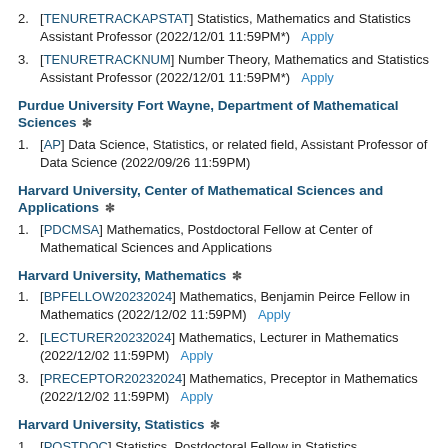2. [TENURETRACKAPSTAT] Statistics, Mathematics and Statistics Assistant Professor (2022/12/01 11:59PM*)  Apply
3. [TENURETRACKNUM] Number Theory, Mathematics and Statistics Assistant Professor (2022/12/01 11:59PM*)  Apply
Purdue University Fort Wayne, Department of Mathematical Sciences *
1. [AP] Data Science, Statistics, or related field, Assistant Professor of Data Science (2022/09/26 11:59PM)
Harvard University, Center of Mathematical Sciences and Applications *
1. [PDCMSA] Mathematics, Postdoctoral Fellow at Center of Mathematical Sciences and Applications
Harvard University, Mathematics *
1. [BPFELLOW20232024] Mathematics, Benjamin Peirce Fellow in Mathematics (2022/12/02 11:59PM)  Apply
2. [LECTURER20232024] Mathematics, Lecturer in Mathematics (2022/12/02 11:59PM)  Apply
3. [PRECEPTOR20232024] Mathematics, Preceptor in Mathematics (2022/12/02 11:59PM)  Apply
Harvard University, Statistics *
1. [POSTDOC] Statistics, Postdoctoral Fellow in Statistics